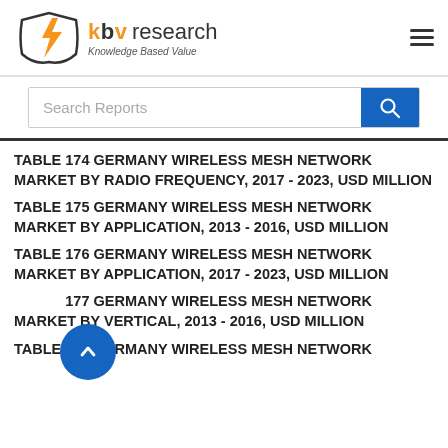[Figure (logo): KBV Research logo with orange lightning bolt icon and text 'kbv research - Knowledge Based Value']
TABLE 174 GERMANY WIRELESS MESH NETWORK MARKET BY RADIO FREQUENCY, 2017 - 2023, USD MILLION
TABLE 175 GERMANY WIRELESS MESH NETWORK MARKET BY APPLICATION, 2013 - 2016, USD MILLION
TABLE 176 GERMANY WIRELESS MESH NETWORK MARKET BY APPLICATION, 2017 - 2023, USD MILLION
TABLE 177 GERMANY WIRELESS MESH NETWORK MARKET BY VERTICAL, 2013 - 2016, USD MILLION
TABLE 178 GERMANY WIRELESS MESH NETWORK